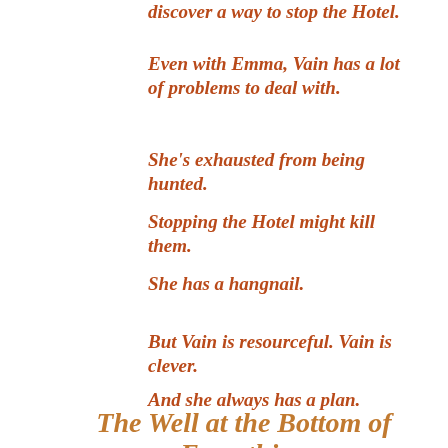discover a way to stop the Hotel.
Even with Emma, Vain has a lot of problems to deal with.
She's exhausted from being hunted.
Stopping the Hotel might kill them.
She has a hangnail.
But Vain is resourceful. Vain is clever.
And she always has a plan.
The Well at the Bottom of Everything